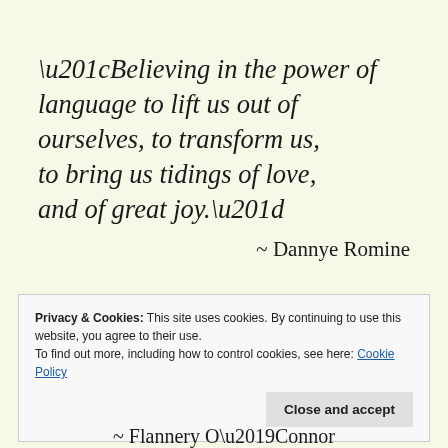“Believing in the power of language to lift us out of ourselves, to transform us, to bring us tidings of love, and of great joy.”
~ Dannye Romine
Privacy & Cookies: This site uses cookies. By continuing to use this website, you agree to their use.
To find out more, including how to control cookies, see here: Cookie Policy
Close and accept
~ Flannery O’Connor